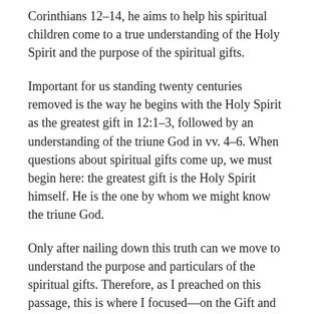Corinthians 12–14, he aims to help his spiritual children come to a true understanding of the Holy Spirit and the purpose of the spiritual gifts.
Important for us standing twenty centuries removed is the way he begins with the Holy Spirit as the greatest gift in 12:1–3, followed by an understanding of the triune God in vv. 4–6. When questions about spiritual gifts come up, we must begin here: the greatest gift is the Holy Spirit himself. He is the one by whom we might know the triune God.
Only after nailing down this truth can we move to understand the purpose and particulars of the spiritual gifts. Therefore, as I preached on this passage, this is where I focused—on the Gift and the Giver. We also considered the purpose or goal of the spiritual gifts and